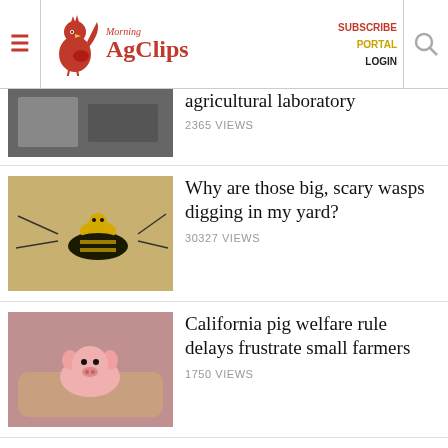Morning AgClips — SUBSCRIBE PORTAL LOGIN
agricultural laboratory
2365 VIEWS
Why are those big, scary wasps digging in my yard?
30327 VIEWS
California pig welfare rule delays frustrate small farmers
1750 VIEWS
See it? Squish it! Fighting the invasive spotted lanternfly
1756 VIEWS
Inflation Reduction Act increases